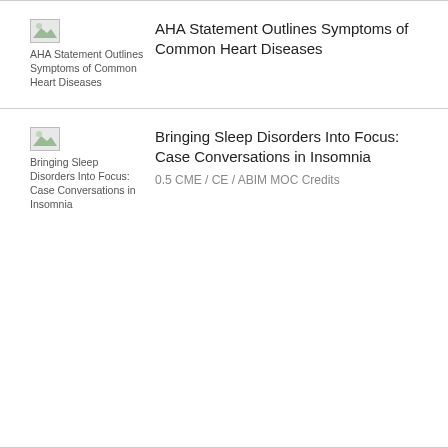[Figure (illustration): Broken image thumbnail for AHA Statement article with alt text 'AHA Statement Outlines Symptoms of Common Heart Diseases']
AHA Statement Outlines Symptoms of Common Heart Diseases
[Figure (illustration): Broken image thumbnail for Bringing Sleep Disorders Into Focus article with alt text listing the article title]
Bringing Sleep Disorders Into Focus: Case Conversations in Insomnia
0.5 CME / CE / ABIM MOC Credits